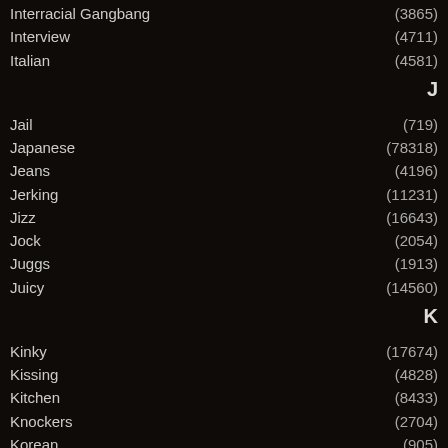Interracial Gangbang (3865)
Interview (4711)
Italian (4581)
J
Jail (719)
Japanese (78318)
Jeans (4196)
Jerking (11231)
Jizz (16643)
Jock (2054)
Juggs (1913)
Juicy (14560)
K
Kinky (17674)
Kissing (4828)
Kitchen (8433)
Knockers (2704)
Korean (905)
L
Labia (1996)
Lace (850)
Lactating (608)
Lady (16651)
Ladyboy (8038)
Lap Dancing (721)
Latex (5854)